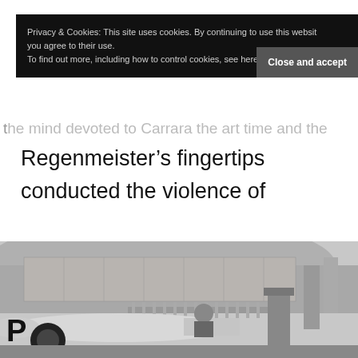Privacy & Cookies: This site uses cookies. By continuing to use this website you agree to their use.
To find out more, including how to control cookies, see here: Cookie Policy
Close and accept
the mind devoted to Carrara the art time and the
Regenmeister’s fingertips conducted the violence of the Silver Arrow.
[Figure (photo): Black and white vintage photograph of a racing car (Silver Arrow) at what appears to be Monaco, with a crowd on hillside in the background and a stone balustrade visible. A driver in helmet is visible near the car with large letter P visible on the car side.]